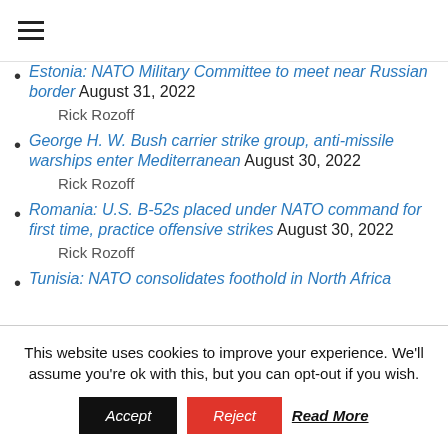Estonia: NATO Military Committee to meet near Russian border August 31, 2022
Rick Rozoff
George H. W. Bush carrier strike group, anti-missile warships enter Mediterranean August 30, 2022
Rick Rozoff
Romania: U.S. B-52s placed under NATO command for first time, practice offensive strikes August 30, 2022
Rick Rozoff
Tunisia: NATO consolidates foothold in North Africa
This website uses cookies to improve your experience. We'll assume you're ok with this, but you can opt-out if you wish.